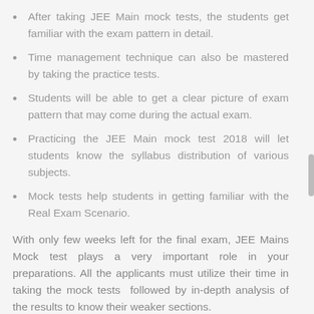After taking JEE Main mock tests, the students get familiar with the exam pattern in detail.
Time management technique can also be mastered by taking the practice tests.
Students will be able to get a clear picture of exam pattern that may come during the actual exam.
Practicing the JEE Main mock test 2018 will let students know the syllabus distribution of various subjects.
Mock tests help students in getting familiar with the Real Exam Scenario.
With only few weeks left for the final exam, JEE Mains Mock test plays a very important role in your preparations. All the applicants must utilize their time in taking the mock tests followed by in-depth analysis of the results to know their weaker sections.